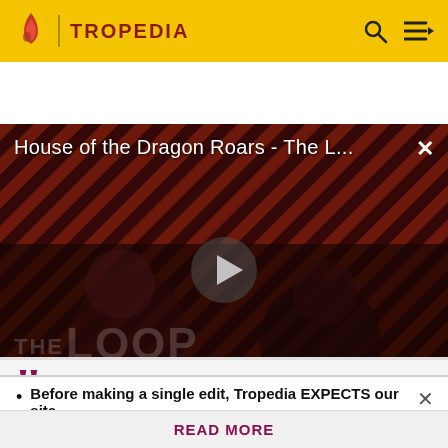TROPEDIA
[Figure (screenshot): Video player showing 'House of the Dragon Roars - The L...' with a play button in the center, diagonal stripe background, two figures visible, 'THE LOOP' text overlay, and NaN:NaN timer indicator]
"
Before making a single edit, Tropedia EXPECTS our site policy and manual of style to be followed. Failure to do so may
READ MORE